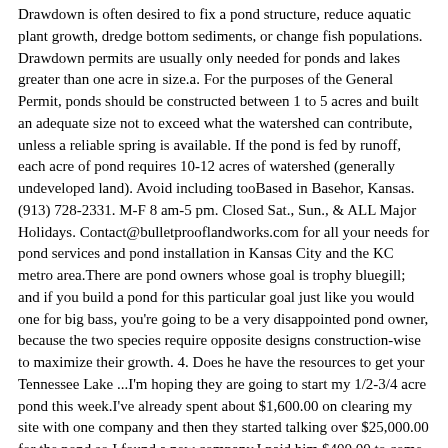Drawdown is often desired to fix a pond structure, reduce aquatic plant growth, dredge bottom sediments, or change fish populations. Drawdown permits are usually only needed for ponds and lakes greater than one acre in size.a. For the purposes of the General Permit, ponds should be constructed between 1 to 5 acres and built an adequate size not to exceed what the watershed can contribute, unless a reliable spring is available. If the pond is fed by runoff, each acre of pond requires 10-12 acres of watershed (generally undeveloped land). Avoid including tooBased in Basehor, Kansas. (913) 728-2331. M-F 8 am-5 pm. Closed Sat., Sun., & ALL Major Holidays. Contact@bulletprooflandworks.com for all your needs for pond services and pond installation in Kansas City and the KC metro area.There are pond owners whose goal is trophy bluegill; and if you build a pond for this particular goal just like you would one for big bass, you're going to be a very disappointed pond owner, because the two species require opposite designs construction-wise to maximize their growth. 4. Does he have the resources to get your Tennessee Lake ...I'm hoping they are going to start my 1/2-3/4 acre pond this week.I've already spent about $1,600.00 on clearing my site with one company and then they started talking over $25,000.00 for the pond so I found a new company.I paid him $400.00 to come out and dig test holes and he wants another $15,000.00 to build the pond.Rock or concrete piles between 1 and 3 cubic yards (less than 2.5 tons). Suitable rocks include sandstone, limestone, or broken concrete blocks (make sure there is no rebar present in concrete as that is illegal and can